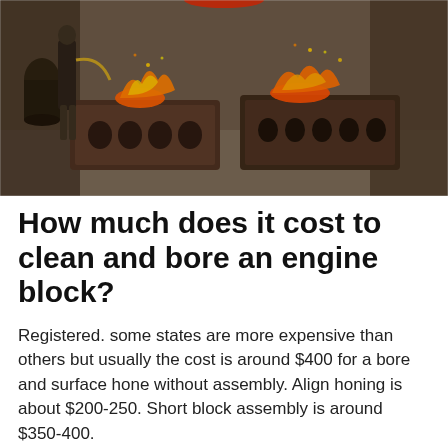[Figure (photo): Photograph of rusty engine blocks outdoors with fire/flames visible, workers and barrels in background, engine components on the ground]
How much does it cost to clean and bore an engine block?
Registered. some states are more expensive than others but usually the cost is around $400 for a bore and surface hone without assembly. Align honing is about $200-250. Short block assembly is around $350-400.
Car parts